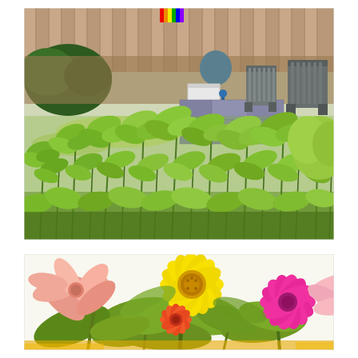[Figure (photo): Aerial/angled view of a backyard garden with lush green leafy plants (possibly bee balm or similar), a wooden fence in the background, two gray Adirondack chairs on a stone patio, a white planter box, dark green shrubs in the back left, and a small rainbow flag or decoration visible at the top.]
[Figure (photo): Close-up of colorful zinnia flowers arranged together: a bright yellow zinnia in the center-top, a pink-salmon zinnia on the left, a smaller red-orange zinnia in the center-bottom, a vivid magenta zinnia on the right, and green leaves and stems throughout. White background visible.]